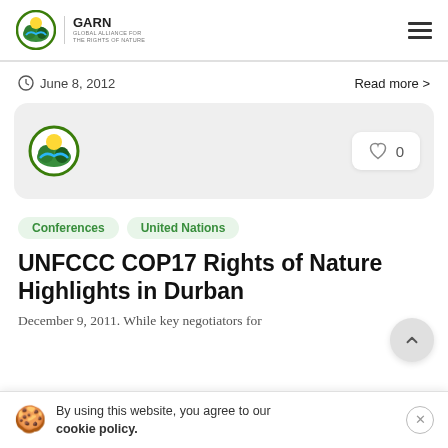GARN
June 8, 2012    Read more >
[Figure (logo): GARN circular logo on light grey card with heart/like button showing 0 likes]
Conferences
United Nations
UNFCCC COP17 Rights of Nature Highlights in Durban
By using this website, you agree to our cookie policy.
December 9, 2011. While key negotiators for